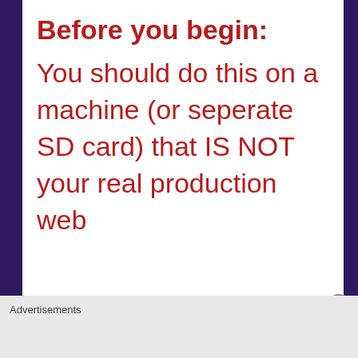Before you begin:
You should do this on a machine (or seperate SD card) that IS NOT your real production web
Advertisements